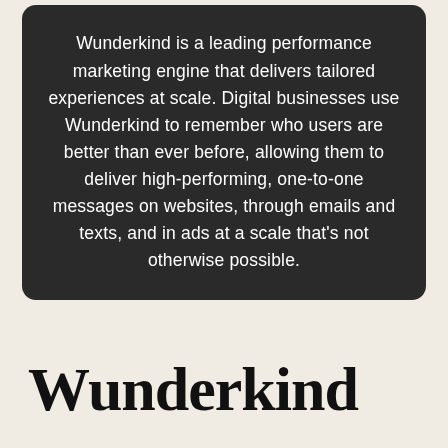Wunderkind is a leading performance marketing engine that delivers tailored experiences at scale. Digital businesses use Wunderkind to remember who users are better than ever before, allowing them to deliver high-performing, one-to-one messages on websites, through emails and texts, and in ads at a scale that's not otherwise possible.
Wunderkind